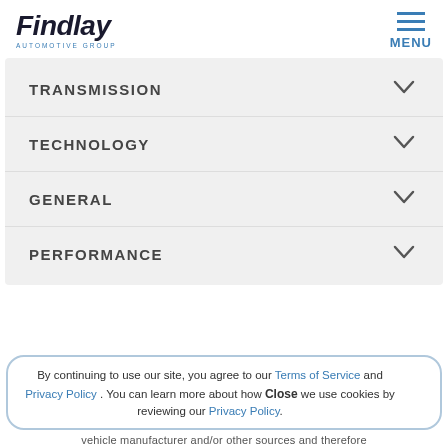Findlay Automotive Group — logo and MENU navigation
TRANSMISSION
TECHNOLOGY
GENERAL
PERFORMANCE
By continuing to use our site, you agree to our Terms of Service and Privacy Policy . You can learn more about how we use cookies by reviewing our Privacy Policy.
vehicle manufacturer and/or other sources and therefore